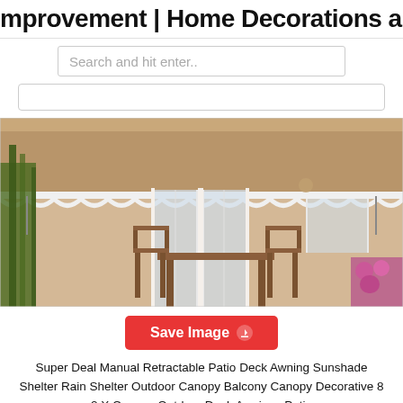mprovement | Home Decorations and
Search and hit enter..
[Figure (photo): A retractable patio deck awning (beige/tan colored fabric with scalloped edge) extended over a patio with wooden garden furniture including chairs and a table, glass doors in background, green bamboo plants on the left, and pink flowers on the right.]
Save Image
Super Deal Manual Retractable Patio Deck Awning Sunshade Shelter Rain Shelter Outdoor Canopy Balcony Canopy Decorative 8 2 X Canopy Outdoor Deck Awnings Patio